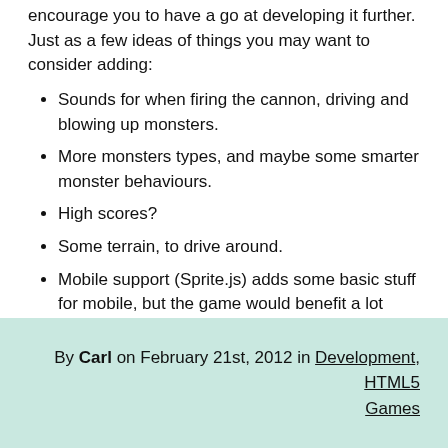encourage you to have a go at developing it further. Just as a few ideas of things you may want to consider adding:
Sounds for when firing the cannon, driving and blowing up monsters.
More monsters types, and maybe some smarter monster behaviours.
High scores?
Some terrain, to drive around.
Mobile support (Sprite.js) adds some basic stuff for mobile, but the game would benefit a lot from a properly mobile oriented control system.
All code seen in this tutorial and comprising the demos is released as Open Source under the MIT Licence. The source for all demos can be found here.
Thanks for reading,
By Carl on February 21st, 2012 in Development, HTML5 Games